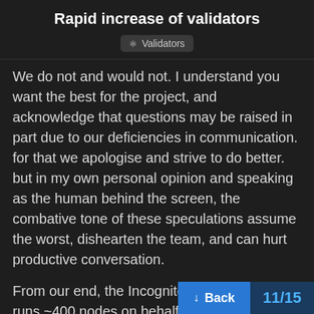Rapid increase of validators
Validators
We do not and would not. I understand you want the best for the project, and acknowledge that questions may be raised in part due to our deficiencies in communication. for that we apologise and strive to do better. but in my own personal opinion and speaking as the human behind the screen, the combative tone of these speculations assume the worst, dishearten the team, and can hurt productive conversation.
From our end, the Incognito team currently runs ~400 nodes on behalf of users opting to use Provide (including the staking service). These are hosted across multiple geographic data centers.
Back 11/15